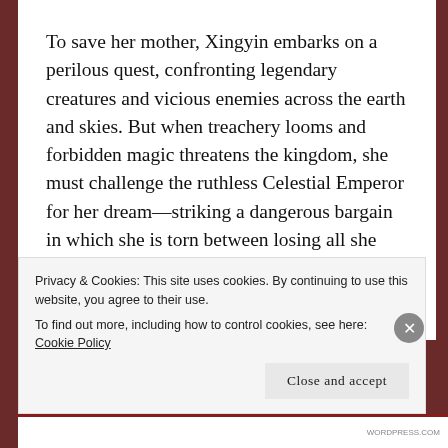To save her mother, Xingyin embarks on a perilous quest, confronting legendary creatures and vicious enemies across the earth and skies. But when treachery looms and forbidden magic threatens the kingdom, she must challenge the ruthless Celestial Emperor for her dream—striking a dangerous bargain in which she is torn between losing all she loves or plunging the realm into chaos.Daughter of the Moon Goddess begins an enchanting, romantic duology which weaves ancient Chinese mythology into a sweeping adventure of immortals and magic—where love vies with honor, dreams are fraught with betrayal, and hope emerges triumphant.
Privacy & Cookies: This site uses cookies. By continuing to use this website, you agree to their use.
To find out more, including how to control cookies, see here: Cookie Policy
Close and accept